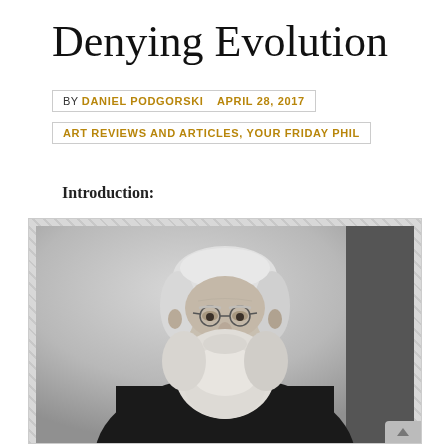Denying Evolution
BY DANIEL PODGORSKI   APRIL 28, 2017
ART REVIEWS AND ARTICLES, YOUR FRIDAY PHIL
Introduction:
[Figure (photo): Black and white portrait photograph of an elderly man with white hair and a long white beard, wearing glasses and a dark suit jacket. The man appears to be a historical figure, photographed in a formal studio portrait style.]